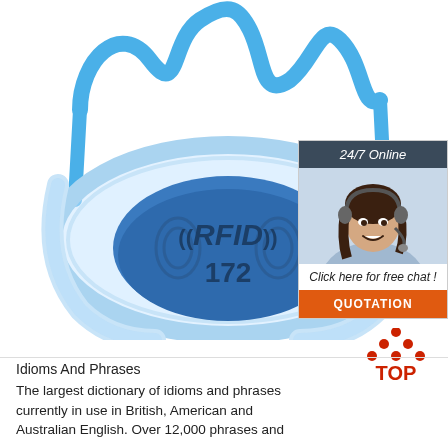[Figure (photo): Blue RFID wristband with wavy antenna coil on top and a blue oval tag labeled '((RFID)) 172' in the center, on a white background]
[Figure (infographic): 24/7 Online customer service chat widget with a smiling woman wearing a headset, text 'Click here for free chat!', and an orange QUOTATION button]
[Figure (logo): TOP logo with red dots arranged in a triangle above the word 'TOP' in red text]
Idioms And Phrases
The largest dictionary of idioms and phrases currently in use in British, American and Australian English. Over 12,000 phrases and